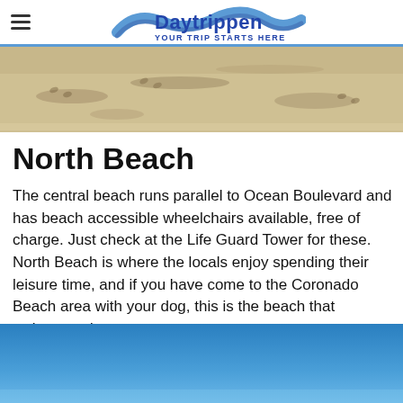Daytrippen — YOUR TRIP STARTS HERE
[Figure (photo): Sandy beach texture photo — top strip]
North Beach
The central beach runs parallel to Ocean Boulevard and has beach accessible wheelchairs available, free of charge. Just check at the Life Guard Tower for these. North Beach is where the locals enjoy spending their leisure time, and if you have come to the Coronado Beach area with your dog, this is the beach that welcomes dogs.
[Figure (photo): Blue sky photo — bottom strip]